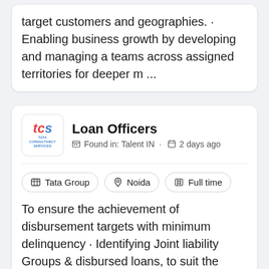target customers and geographies. · Enabling business growth by developing and managing a teams across assigned territories for deeper m ...
Loan Officers
Found in: Talent IN · 2 days ago
Tata Group
Noida
Full time
To ensure the achievement of disbursement targets with minimum delinquency · Identifying Joint liability Groups & disbursed loans, to suit the target customers and geographies. · Enabling business growth by developing and managing a teams across assigned territories for deeper m